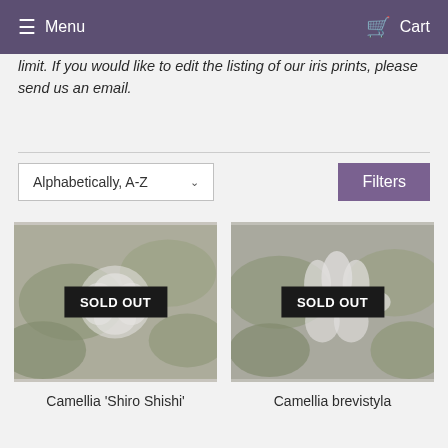Menu   Cart
limit. If you would like to edit the listing of our iris prints, please send us an email.
Alphabetically, A-Z   Filters
[Figure (photo): Photo of a white camellia flower among green leaves, with a SOLD OUT badge overlaid in the center]
Camellia 'Shiro Shishi'
[Figure (photo): Photo of a white camellia brevistyla flower with yellow center among green leaves, with a SOLD OUT badge overlaid in the center]
Camellia brevistyla